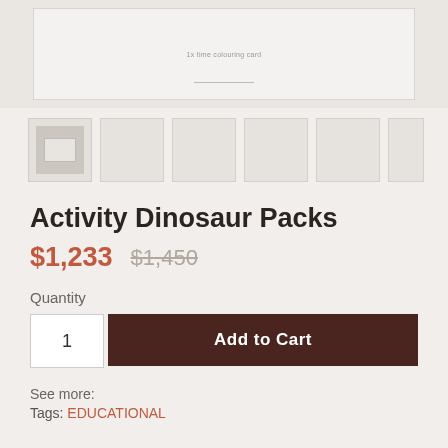[Figure (photo): Top portion of a white product box against light background, partially cropped. Small text reads '1x time colouring card'.]
[Figure (photo): Row of product thumbnail images. First shows actual product (small items in a bag with a card). Remaining 5 thumbnails are light grey placeholder rectangles.]
Activity Dinosaur Packs
$1,233  $1,450
Quantity
1
Add to Cart
See more:
Tags: EDUCATIONAL